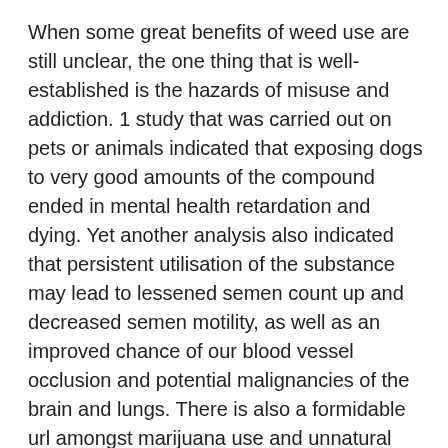When some great benefits of weed use are still unclear, the one thing that is well-established is the hazards of misuse and addiction. 1 study that was carried out on pets or animals indicated that exposing dogs to very good amounts of the compound ended in mental health retardation and dying. Yet another analysis also indicated that persistent utilisation of the substance may lead to lessened semen count up and decreased semen motility, as well as an improved chance of our blood vessel occlusion and potential malignancies of the brain and lungs. There is also a formidable url amongst marijuana use and unnatural human brain advancement, as well as diminished IQ and remembrance. You will find even a heightened potential for establishing psychosis, or a lack of emotional lucidity, in serious end users on the pharmaceutical.